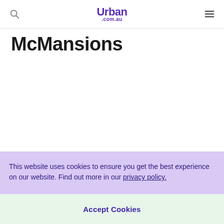Urban .com.au
McMansions
This website uses cookies to ensure you get the best experience on our website. Find out more in our privacy policy.
Accept Cookies